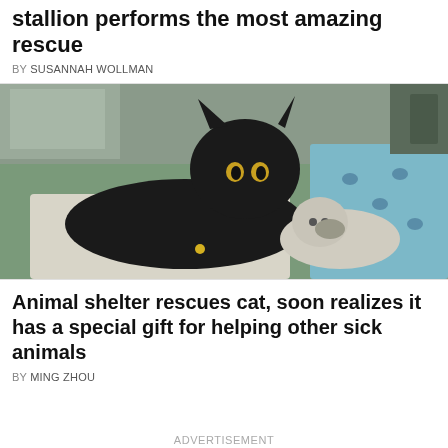stallion performs the most amazing rescue
BY SUSANNAH WOLLMAN
[Figure (photo): A black cat lying next to a smaller white and gray cat on a green mat and white cloth, with a blue blanket with paw prints visible on the right side. The setting appears to be an animal shelter.]
Animal shelter rescues cat, soon realizes it has a special gift for helping other sick animals
BY MING ZHOU
ADVERTISEMENT